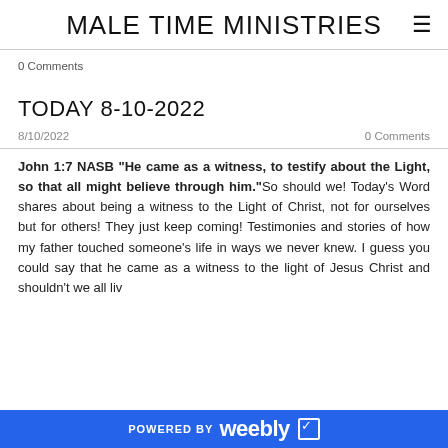MALE TIME MINISTRIES
0 Comments
TODAY 8-10-2022
8/10/2022   0 Comments
John 1:7 NASB "He came as a witness, to testify about the Light, so that all might believe through him." So should we! Today's Word shares about being a witness to the Light of Christ, not for ourselves but for others! They just keep coming! Testimonies and stories of how my father touched someone's life in ways we never knew. I guess you could say that he came as a witness to the light of Jesus Christ and shouldn't we all live
POWERED BY weebly